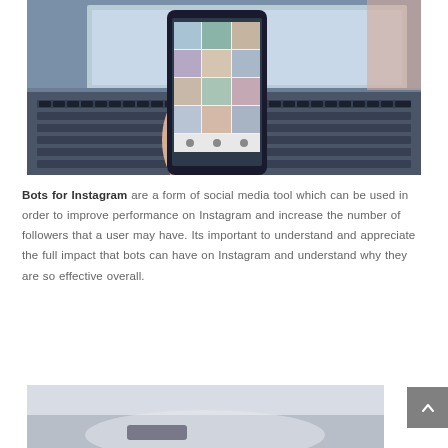[Figure (photo): Person holding a smartphone displaying Instagram grid feed in front of a laptop keyboard]
Bots for Instagram are a form of social media tool which can be used in order to improve performance on Instagram and increase the number of followers that a user may have. Its important to understand and appreciate the full impact that bots can have on Instagram and understand why they are so effective overall.
[Figure (photo): Partial view of objects on a desk, appears to show a watch or camera lens]